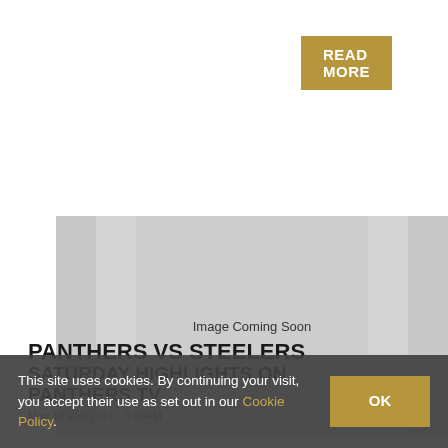READ MORE
[Figure (photo): Placeholder image area with text 'Image Coming Soon']
PANTHERS VS STEELERS SATURDAY HIGHLIGHTS ON PANTHERS TV
Mon 13 Feb 2017 - 3:36PM
This site uses cookies. By continuing your visit, you accept their use as set out in our Cookie Policy.